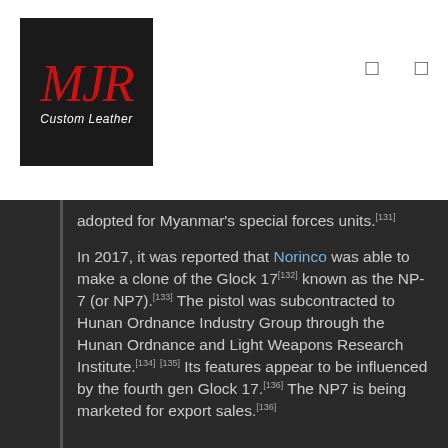[Figure (logo): MJR Custom Leather logo — dark background with red italic script letters MJR above white italic text 'Custom Leather']
adopted for Myanmar's special forces units.[131]
In 2017, it was reported that Norinco was able to make a clone of the Glock 17[132] known as the NP-7 (or NP7).[133] The pistol was subcontracted to Hunan Ordnance Industry Group through the Hunan Ordnance and Light Weapons Research Institute.[134] [135] Its features appear to be influenced by the fourth gen Glock 17.[136] The NP7 is being marketed for export sales.[136]